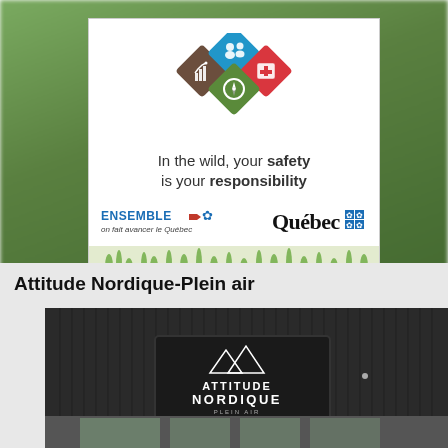[Figure (infographic): Quebec government safety campaign card. Four colored diamonds (brown with bar chart icon, blue with people icon, red with camera/first-aid icon, green with compass icon) arranged in a diamond pattern. Text: 'In the wild, your safety is your responsibility'. Logos: ENSEMBLE on fait avancer le Québec, and Québec fleur-de-lis logo. Grass illustration at bottom.]
Attitude Nordique-Plein air
[Figure (photo): Storefront of Attitude Nordique Plein Air store. Dark grey/black vertical siding exterior with a sign showing the Attitude Nordique logo (two mountain triangles) and store name.]